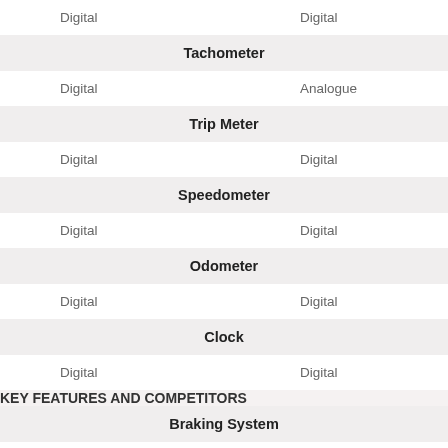| Digital | Digital |
| Tachometer |  |
| Digital | Analogue |
| Trip Meter |  |
| Digital | Digital |
| Speedometer |  |
| Digital | Digital |
| Odometer |  |
| Digital | Digital |
| Clock |  |
| Digital | Digital |
KEY FEATURES AND COMPETITORS
| Braking System |  |
| 2-Channel ABS (Anti-Lock Braking System) | 2-Channel ABS (Anti-Lock Braking System) |